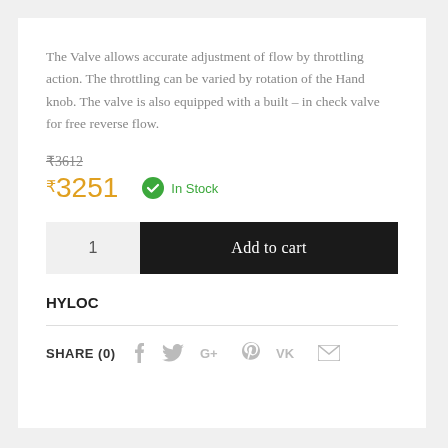The Valve allows accurate adjustment of flow by throttling action. The throttling can be varied by rotation of the Hand knob. The valve is also equipped with a built – in check valve for free reverse flow.
₹3612 (strikethrough original price)
₹3251  In Stock
1  Add to cart
HYLOC
SHARE (0)